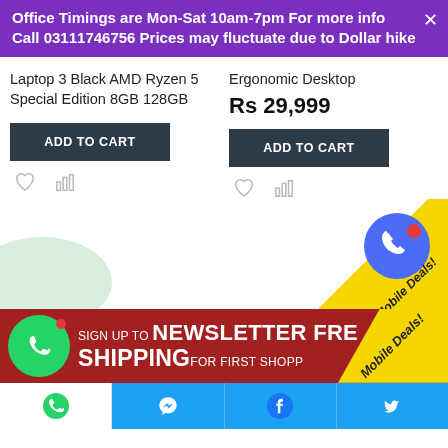Office Timings are Mon-Sat 10am-7pm For more info Call 03111746756 Prices may fluctuate due to Dollar hike
Laptop 3 Black AMD Ryzen 5 Special Edition 8GB 128GB
Ergonomic Desktop
Rs 29,999
ADD TO CART
ADD TO CART
[Figure (screenshot): Phone/call floating button with blue circle and red notification dot, and Mobile Deals diagonal yellow banner]
SIGN UP TO NEWSLETTER FREE SHIPPING FOR FIRST SHOPPERS
WhatsApp | Messenger | Facebook | Twitter footer navigation bar